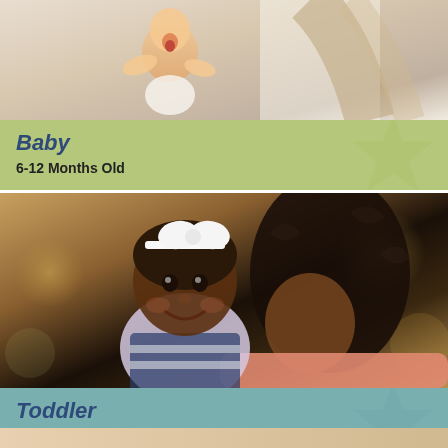[Figure (photo): Photo of a laughing baby being held up, likely by a parent, bright indoor background]
Baby
6-12 Months Old
[Figure (photo): Photo of a smiling toddler girl with a white bow headband being held by a smiling woman, warm outdoor background]
Toddler
13 Months-2.5 Years Old